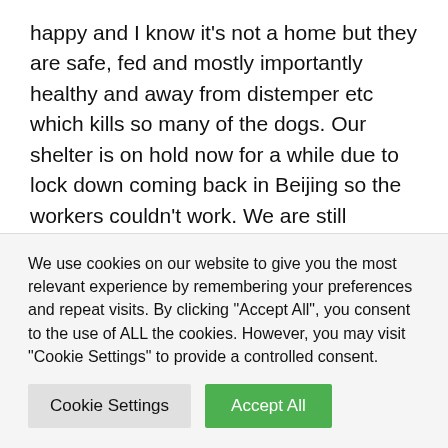happy and I know it's not a home but they are safe, fed and mostly importantly healthy and away from distemper etc which kills so many of the dogs. Our shelter is on hold now for a while due to lock down coming back in Beijing so the workers couldn't work. We are still chipping away at the bills because we have never had so many so it's been a massive struggle. We have to dig deep and pull our big girl pants up and get on with it. Things are going to take so long to get back on top of our vet bills etc once
We use cookies on our website to give you the most relevant experience by remembering your preferences and repeat visits. By clicking "Accept All", you consent to the use of ALL the cookies. However, you may visit "Cookie Settings" to provide a controlled consent.